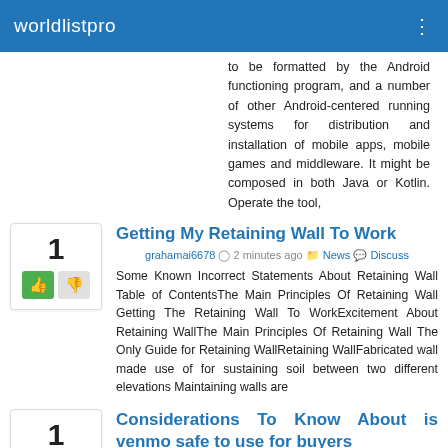worldlistpro
to be formatted by the Android functioning program, and a number of other Android-centered running systems for distribution and installation of mobile apps, mobile games and middleware. It might be composed in both Java or Kotlin. Operate the tool,
Getting My Retaining Wall To Work
grahamai6678 · 2 minutes ago · News · Discuss
Some Known Incorrect Statements About Retaining Wall Table of ContentsThe Main Principles Of Retaining Wall Getting The Retaining Wall To WorkExcitement About Retaining WallThe Main Principles Of Retaining Wall The Only Guide for Retaining WallRetaining WallFabricated wall made use of for sustaining soil between two different elevations Maintaining walls are
Considerations To Know About is venmo safe to use for buyers